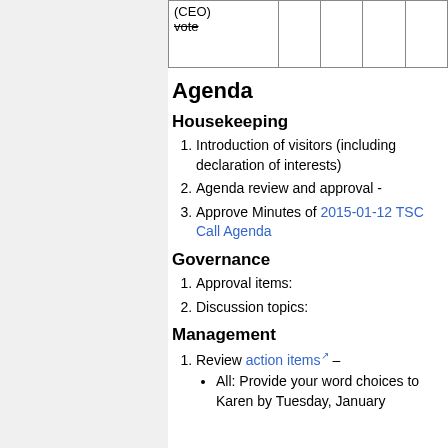| (CEO)
vote |  |  |  |  |
| --- | --- | --- | --- | --- |
|  |  |  |  |  |
Agenda
Housekeeping
Introduction of visitors (including declaration of interests)
Agenda review and approval -
Approve Minutes of 2015-01-12 TSC Call Agenda
Governance
Approval items:
Discussion topics:
Management
Review action items –
All: Provide your word choices to Karen by Tuesday, January